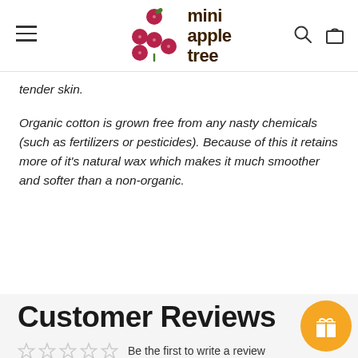mini apple tree
tender skin.
Organic cotton is grown free from any nasty chemicals (such as fertilizers or pesticides). Because of this it retains more of it's natural wax which makes it much smoother and softer than a non-organic.
Customer Reviews
Be the first to write a review